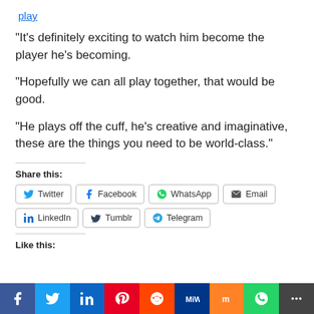play
“It’s definitely exciting to watch him become the player he’s becoming.
“Hopefully we can all play together, that would be good.
“He plays off the cuff, he’s creative and imaginative, these are the things you need to be world-class.”
Share this:
Like this:
[Figure (infographic): Social media share buttons: Twitter, Facebook, WhatsApp, Email, LinkedIn, Tumblr, Telegram]
[Figure (infographic): Bottom social sharing bar with icons: Facebook (blue), Twitter (light blue), LinkedIn (blue), Pinterest (red), Reddit (orange-red), MeWe (blue), Mix (orange), WhatsApp (green), More (dark gray)]